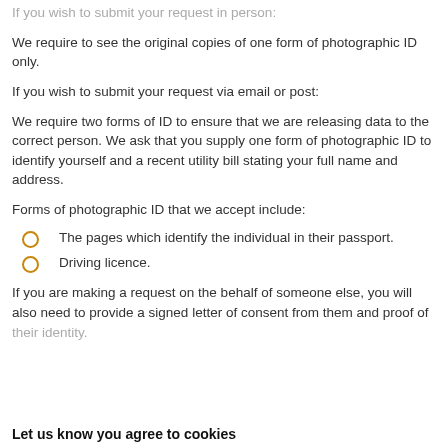If you wish to submit your request in person:
We require to see the original copies of one form of photographic ID only.
If you wish to submit your request via email or post:
We require two forms of ID to ensure that we are releasing data to the correct person. We ask that you supply one form of photographic ID to identify yourself and a recent utility bill stating your full name and address.
Forms of photographic ID that we accept include:
The pages which identify the individual in their passport.
Driving licence.
If you are making a request on the behalf of someone else, you will also need to provide a signed letter of consent from them and proof of their identity.
Let us know you agree to cookies